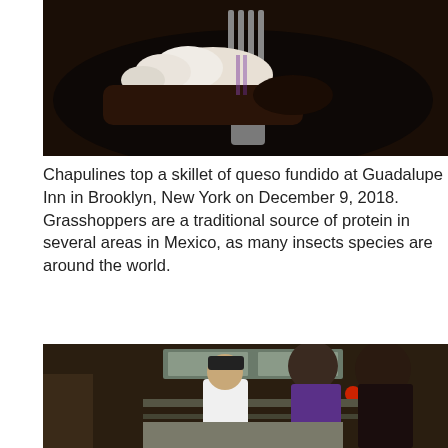[Figure (photo): Close-up dark photo of a skillet dish with white cream/cheese topping and a fork, chapulines (grasshoppers) on queso fundido at Guadalupe Inn in Brooklyn]
Chapulines top a skillet of queso fundido at Guadalupe Inn in Brooklyn, New York on December 9, 2018. Grasshoppers are a traditional source of protein in several areas in Mexico, as many insects species are around the world.
[Figure (photo): Photo of people in a restaurant kitchen, including a man in a white shirt with a cap and two women, one in a purple top and another in a dark floral top, with a language selector overlay showing 'Español' with an up arrow]